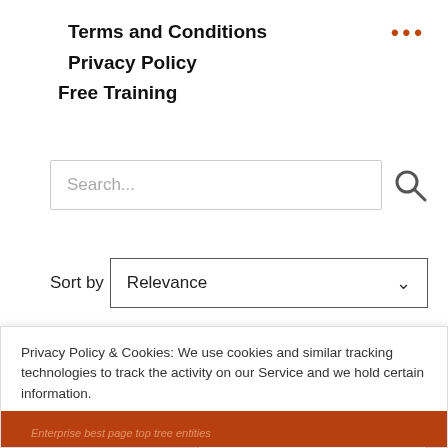Terms and Conditions
Privacy Policy
Free Training
Search...
Sort by  Relevance
Privacy Policy & Cookies: We use cookies and similar tracking technologies to track the activity on our Service and we hold certain information.
Read the full Privacy Policy.
Close & Accept